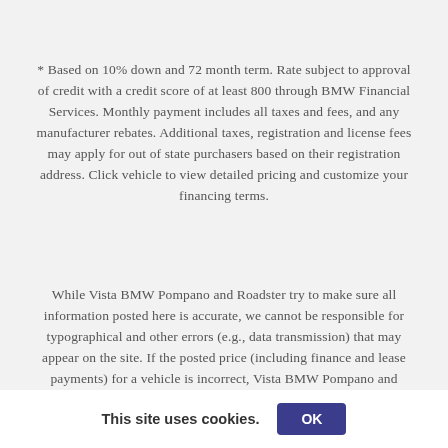* Based on 10% down and 72 month term. Rate subject to approval of credit with a credit score of at least 800 through BMW Financial Services. Monthly payment includes all taxes and fees, and any manufacturer rebates. Additional taxes, registration and license fees may apply for out of state purchasers based on their registration address. Click vehicle to view detailed pricing and customize your financing terms.
While Vista BMW Pompano and Roadster try to make sure all information posted here is accurate, we cannot be responsible for typographical and other errors (e.g., data transmission) that may appear on the site. If the posted price (including finance and lease payments) for a vehicle is incorrect, Vista BMW Pompano and Roadster will endeavor to provide you with the correct prices as soon as we
This site uses cookies. OK